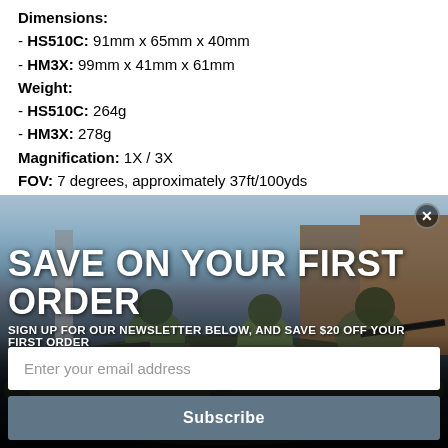Dimensions:
- HS510C: 91mm x 65mm x 40mm
- HM3X: 99mm x 41mm x 61mm
Weight:
- HS510C: 264g
- HM3X: 278g
Magnification: 1X / 3X
FOV: 7 degrees, approximately 37ft/100yds
Adjustment Per Click: 0.5 MOA
[Figure (photo): Military soldiers in camouflage gear aiming rifles, with a marketing overlay for a newsletter signup offering $20 off first order.]
SAVE ON YOUR FIRST ORDER
SIGN UP FOR OUR NEWSLETTER BELOW, AND SAVE $20 OFF YOUR FIRST ORDER
EXCLUSIONS APPLY
Enter your email address
Subscribe